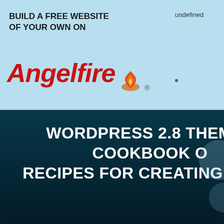[Figure (screenshot): Angelfire advertisement banner: 'BUILD A FREE WEBSITE OF YOUR OWN ON Angelfire' with flame logo, on light blue background. Text 'undefined' appears top right.]
WORDPRESS 2.8 THEMES COOKBOOK OVER 100 SIMPLE BUT INCREDIBLY EFFECTIVE RECIPES FOR CREATING POWERFUL CUSTOM THEMES
Wordpress 2.8 Themes Cookbook Over 100 Simple But Incredibly Effective